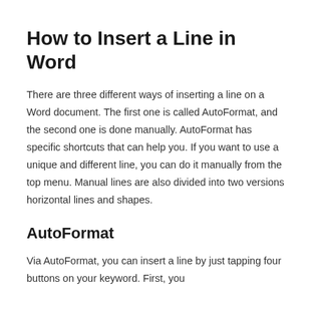How to Insert a Line in Word
There are three different ways of inserting a line on a Word document. The first one is called AutoFormat, and the second one is done manually. AutoFormat has specific shortcuts that can help you. If you want to use a unique and different line, you can do it manually from the top menu. Manual lines are also divided into two versions horizontal lines and shapes.
AutoFormat
Via AutoFormat, you can insert a line by just tapping four buttons on your keyword. First, you